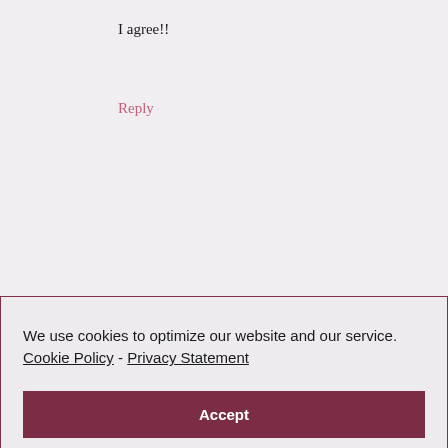I agree!!
Reply
We use cookies to optimize our website and our service.  Cookie Policy  -  Privacy Statement
Accept
Reply